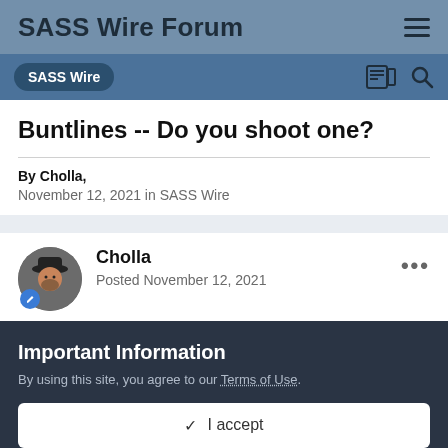SASS Wire Forum
Buntlines -- Do you shoot one?
By Cholla,
November 12, 2021 in SASS Wire
Cholla
Posted November 12, 2021
Important Information
By using this site, you agree to our Terms of Use.
✓  I accept